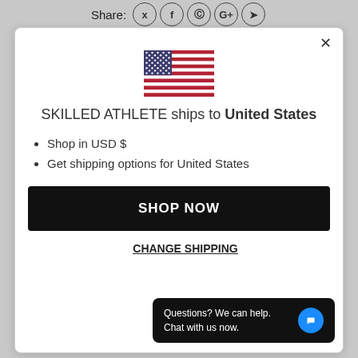Share:
[Figure (illustration): US flag SVG illustration centered in modal]
SKILLED ATHLETE ships to United States
Shop in USD $
Get shipping options for United States
SHOP NOW
CHANGE SHIPPING
Questions? We can help. Chat with us now.